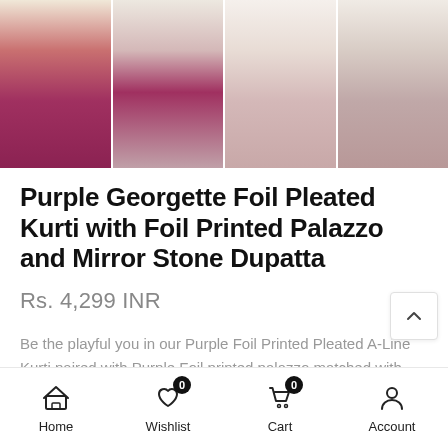[Figure (photo): Four product thumbnail images of a purple georgette kurti set shown from different angles, arranged in a horizontal strip]
Purple Georgette Foil Pleated Kurti with Foil Printed Palazzo and Mirror Stone Dupatta
Rs. 4,299 INR
Be the playful you in our Purple Foil Printed Pleated A-Line Kurti paired with Purple Foil printed palazzo matched with...
Home  Wishlist 0  Cart 0  Account